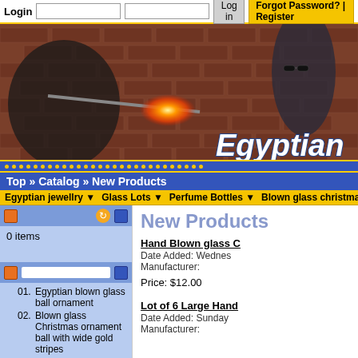Login | Log in | Forgot Password? | Register
[Figure (photo): Banner image showing glassblowing with fire and a person wearing sunglasses against a brick wall background, with 'Egyptian' text overlay]
Top » Catalog » New Products
Egyptian jewellry ▼  Glass Lots ▼  Perfume Bottles ▼  Blown glass christmas
0 items
01. Egyptian blown glass ball ornament
02. Blown glass Christmas ornament ball with wide gold stripes
03. Glass Small Christmas Ornament
04. Glass Medium Christmas Ornament
05. Blown glass Christmas ornament ball with gold stripes
06. Glass Small Christmas Ornament
07. Genie Bottle
08. Glass Small Christmas...
New Products
Hand Blown glass C
Date Added: Wednes
Manufacturer:
Price: $12.00
Lot of 6 Large Hand
Date Added: Sunday
Manufacturer: